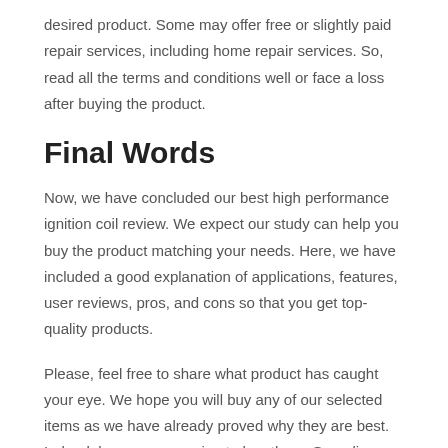desired product. Some may offer free or slightly paid repair services, including home repair services. So, read all the terms and conditions well or face a loss after buying the product.
Final Words
Now, we have concluded our best high performance ignition coil review. We expect our study can help you buy the product matching your needs. Here, we have included a good explanation of applications, features, user reviews, pros, and cons so that you get top-quality products.
Please, feel free to share what product has caught your eye. We hope you will buy any of our selected items as we have already proved why they are best. Indeed, buyers are craving to buy them. Spending time on other products in confusion may make you delay or miss the right purchase. So, make your life easier by picking the right product from our list faster.